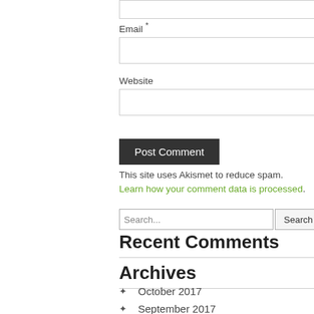Email *
Website
Post Comment
This site uses Akismet to reduce spam. Learn how your comment data is processed.
Search...
Recent Comments
Archives
October 2017
September 2017